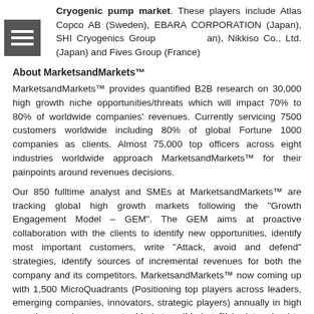Cryogenic pump market. These players include Atlas Copco AB (Sweden), EBARA CORPORATION (Japan), SHI Cryogenics Group (Japan), Nikkiso Co., Ltd. (Japan) and Fives Group (France)
About MarketsandMarkets™
MarketsandMarkets™ provides quantified B2B research on 30,000 high growth niche opportunities/threats which will impact 70% to 80% of worldwide companies' revenues. Currently servicing 7500 customers worldwide including 80% of global Fortune 1000 companies as clients. Almost 75,000 top officers across eight industries worldwide approach MarketsandMarkets™ for their painpoints around revenues decisions.
Our 850 fulltime analyst and SMEs at MarketsandMarkets™ are tracking global high growth markets following the "Growth Engagement Model – GEM". The GEM aims at proactive collaboration with the clients to identify new opportunities, identify most important customers, write "Attack, avoid and defend" strategies, identify sources of incremental revenues for both the company and its competitors. MarketsandMarkets™ now coming up with 1,500 MicroQuadrants (Positioning top players across leaders, emerging companies, innovators, strategic players) annually in high growth emerging segments. MarketsandMarkets™ is determined to benefit